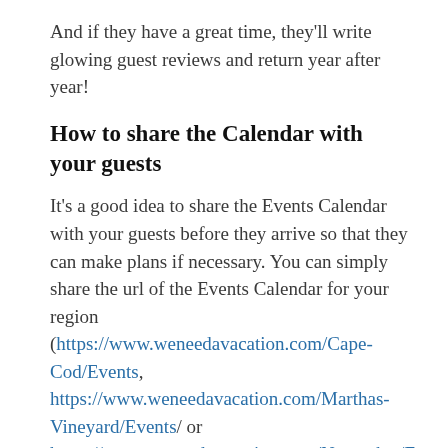And if they have a great time, they'll write glowing guest reviews and return year after year!
How to share the Calendar with your guests
It's a good idea to share the Events Calendar with your guests before they arrive so that they can make plans if necessary. You can simply share the url of the Events Calendar for your region (https://www.weneedavacation.com/Cape-Cod/Events, https://www.weneedavacation.com/Marthas-Vineyard/Events/ or https://www.weneedavacation.com/Nantucket/Events/). Your guests can then filter it further by the other criteria if they wish